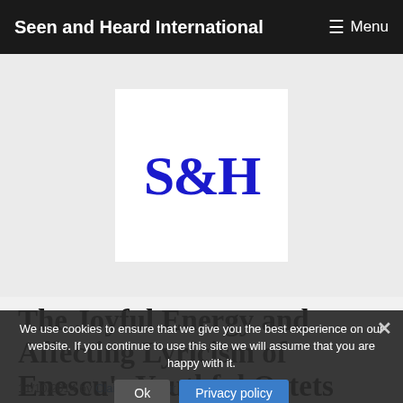Seen and Heard International    ☰ Menu
[Figure (logo): S&H logo in dark blue serif font on white background, square format]
The Joyful Energy and Affecting Lyricism of Enescu's Youthful Octets
11/10/2014 by Claire Seymour
We use cookies to ensure that we give you the best experience on our website. If you continue to use this site we will assume that you are happy with it.
Ok    Privacy policy